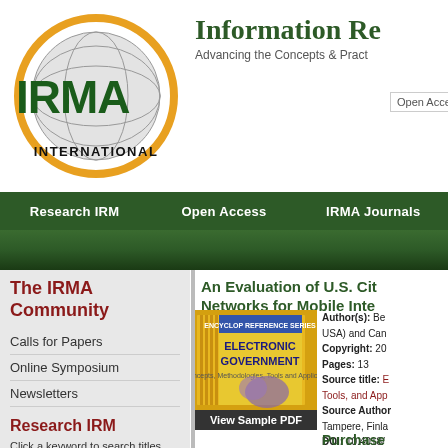[Figure (logo): IRMA International logo: circular globe graphic with orange ring around it, IRMA in bold dark green letters, INTERNATIONAL below in black]
Information Re
Advancing the Concepts & Pract
Open Access/On
Research IRM | Open Access | IRMA Journals
The IRMA Community
Calls for Papers
Online Symposium
Newsletters
Research IRM
Click a keyword to search titles using our InfoSci-OnDemand powered search:
Healthcare
Business Management
Multimedia IS
An Evaluation of U.S. Cit Networks for Mobile Inte
[Figure (photo): Stack of Electronic Government books with yellow covers, with a View Sample PDF button below]
Author(s): Be USA) and Can Copyright: 20 Pages: 13 Source title: E Tools, and App Source Author Tampere, Finla DOI: 10.4018/ Keywords: Ele Information Sc
Purchase